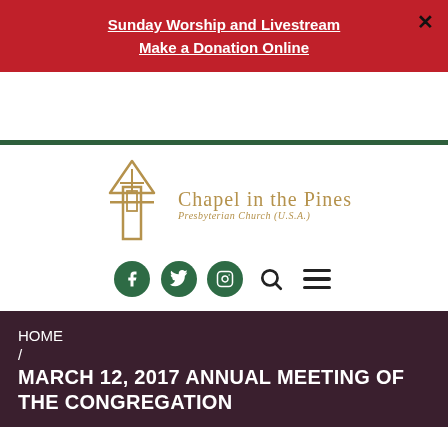Sunday Worship and Livestream
Make a Donation Online
[Figure (logo): Chapel in the Pines Presbyterian Church (U.S.A.) logo with cross/arrow icon in gold/tan color]
HOME / MARCH 12, 2017 ANNUAL MEETING OF THE CONGREGATION